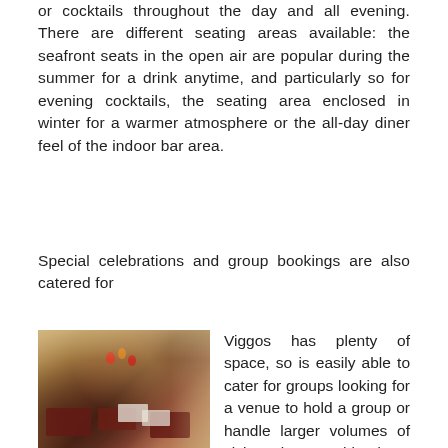or cocktails throughout the day and all evening. There are different seating areas available: the seafront seats in the open air are popular during the summer for a drink anytime, and particularly so for evening cocktails, the seating area enclosed in winter for a warmer atmosphere or the all-day diner feel of the indoor bar area.
Special celebrations and group bookings are also catered for
[Figure (photo): Interior photo of Viggos restaurant with tables covered in dark red/burgundy and white tablecloths, chairs, and orange/red balloons in the background, warm ambient lighting]
Viggos has plenty of space, so is easily able to cater for groups looking for a venue to hold a group or handle larger volumes of visitors, ie a coachload.